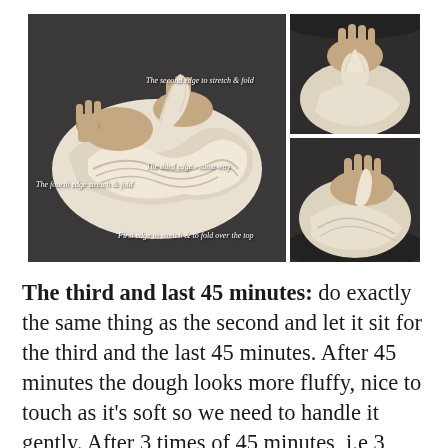[Figure (photo): Photo collage of hands stretching and folding bread dough in a metal bowl. Main large photo on the left shows hands folding layered dough with labels: 'The second edge to stretch & fold', 'The third edge - same way', 'The fourth edge stretch & fold', 'First edge to stretch & to fold over the top'. Top-right smaller photo shows hands pinching dough. Bottom-right smaller photo shows hands twisting/folding dough.]
The third and last 45 minutes: do exactly the same thing as the second and let it sit for the third and the last 45 minutes. After 45 minutes the dough looks more fluffy, nice to touch as it's soft so we need to handle it gently. After 3 times of 45 minutes, i.e 3 hours to ferment the dough, now time to leave the sourdough bread in the basket